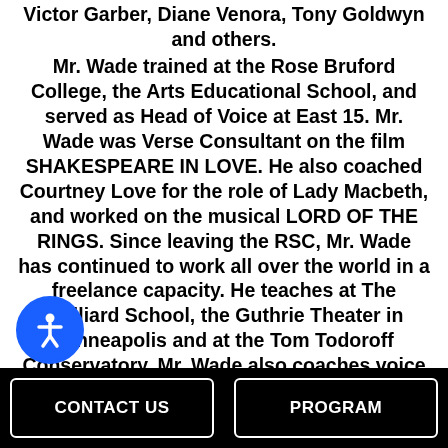Victor Garber, Diane Venora, Tony Goldwyn and others. Mr. Wade trained at the Rose Bruford College, the Arts Educational School, and served as Head of Voice at East 15. Mr. Wade was Verse Consultant on the film SHAKESPEARE IN LOVE. He also coached Courtney Love for the role of Lady Macbeth, and worked on the musical LORD OF THE RINGS. Since leaving the RSC, Mr. Wade has continued to work all over the world in a freelance capacity. He teaches at The Juilliard School, the Guthrie Theater in Minneapolis and at the Tom Todoroff Conservatory. Mr. Wade also coaches voice & speech extensively for Broadway and West End productions including
CONTACT US   PROGRAM